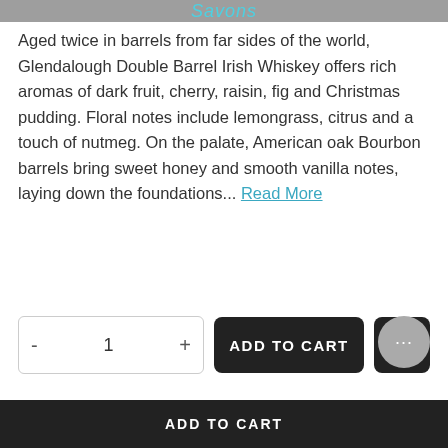Savons
Aged twice in barrels from far sides of the world, Glendalough Double Barrel Irish Whiskey offers rich aromas of dark fruit, cherry, raisin, fig and Christmas pudding. Floral notes include lemongrass, citrus and a touch of nutmeg. On the palate, American oak Bourbon barrels bring sweet honey and smooth vanilla notes, laying down the foundations... Read More
- 1 + ADD TO CART [wishlist]
| Field | Value |
| --- | --- |
| SKU: | SWP059000 |
| CATEGORIES: | Spirits |
ADD TO CART